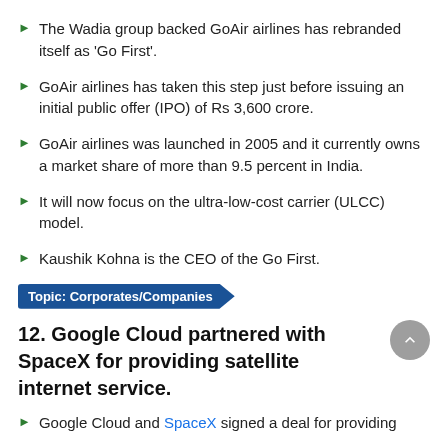The Wadia group backed GoAir airlines has rebranded itself as 'Go First'.
GoAir airlines has taken this step just before issuing an initial public offer (IPO) of Rs 3,600 crore.
GoAir airlines was launched in 2005 and it currently owns a market share of more than 9.5 percent in India.
It will now focus on the ultra-low-cost carrier (ULCC) model.
Kaushik Kohna is the CEO of the Go First.
Topic: Corporates/Companies
12. Google Cloud partnered with SpaceX for providing satellite internet service.
Google Cloud and SpaceX signed a deal for providing